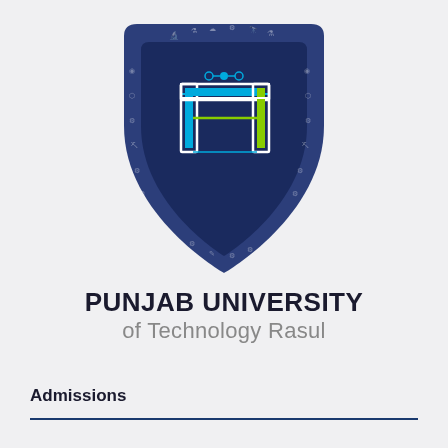[Figure (logo): Punjab University of Technology Rasul shield logo — dark navy blue shield with stylized 'UT' letters in white/cyan/green, surrounded by small academic and engineering icons on the border]
PUNJAB UNIVERSITY of Technology Rasul
Admissions